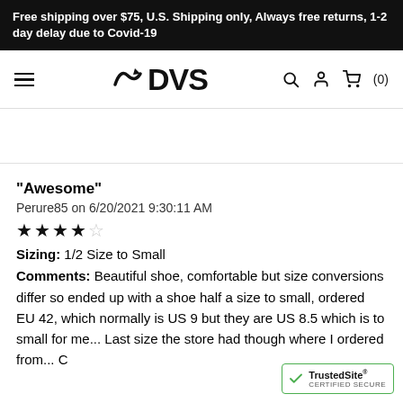Free shipping over $75, U.S. Shipping only, Always free returns, 1-2 day delay due to Covid-19
[Figure (logo): DVS Shoes logo with stylized arrow/swoosh icon and bold DVS text]
"Awesome"
Perure85 on 6/20/2021 9:30:11 AM
★★★★☆
Sizing: 1/2 Size to Small
Comments: Beautiful shoe, comfortable but size conversions differ so ended up with a shoe half a size to small, ordered EU 42, which normally is US 9 but they are US 8.5 which is to small for me... Last size the store had though where I ordered from... C
[Figure (logo): TrustedSite CERTIFIED SECURE badge]